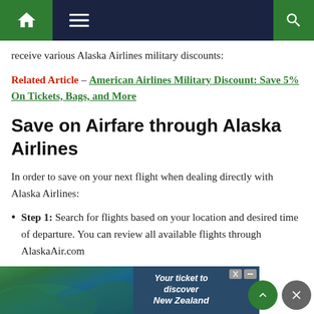Navigation bar with home icon, menu icon, and search icon
receive various Alaska Airlines military discounts:
Related Article – American Airlines Military Discount: Save 5% On Tickets, Bags, and More
Save on Airfare through Alaska Airlines
In order to save on your next flight when dealing directly with Alaska Airlines:
Step 1: Search for flights based on your location and desired time of departure. You can review all available flights through AlaskaAir.com
Step 2: (partially visible)
[Figure (screenshot): Advertisement banner for New Zealand tourism with scenic aerial photo and text 'Your ticket to discover New Zealand']